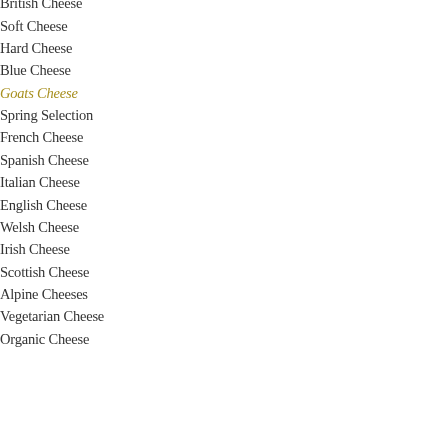British Cheese
Soft Cheese
Hard Cheese
Blue Cheese
Goats Cheese
Spring Selection
French Cheese
Spanish Cheese
Italian Cheese
English Cheese
Welsh Cheese
Irish Cheese
Scottish Cheese
Alpine Cheeses
Vegetarian Cheese
Organic Cheese